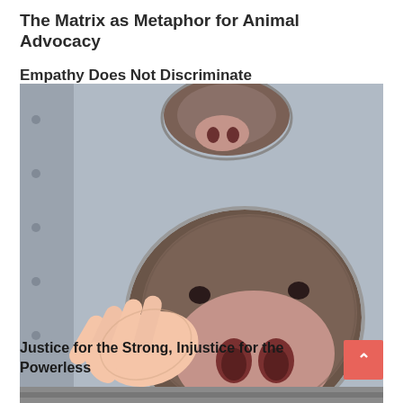The Matrix as Metaphor for Animal Advocacy
Empathy Does Not Discriminate
[Figure (photo): Close-up photo of a pig's snout poking through a hole in a metal transport vehicle wall, with a human hand gently touching/petting the pig's face. Another pig's head is partially visible in the upper portion of the image.]
Justice for the Strong, Injustice for the Powerless
[Figure (photo): Partial view of another photo at the bottom of the page, content not fully visible.]